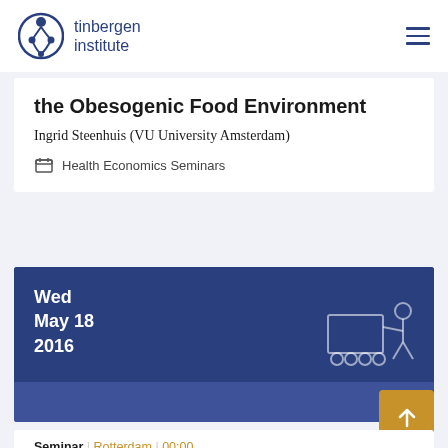tinbergen institute
the Obesogenic Food Environment
Ingrid Steenhuis (VU University Amsterdam)
Health Economics Seminars
Wed
May 18
2016
Seminar | Rotterdam | 00:00
Evaluation of the Rwanda Community